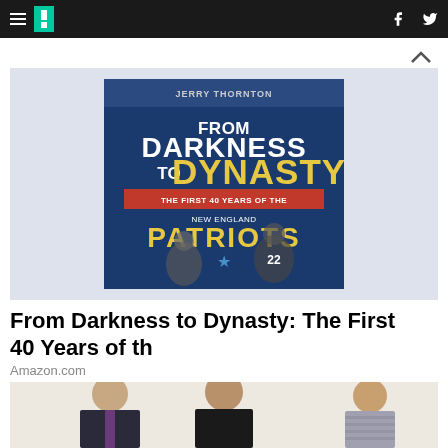HuffPost navigation with logo, hamburger menu, Facebook and Twitter icons
[Figure (photo): Book cover of 'From Darkness to Dynasty: The First 40 Years of the New England Patriots' by Jerry Thornton, showing two football players, displayed centered on a light blue-gray background]
From Darkness to Dynasty: The First 40 Years of th
Amazon.com
[Figure (photo): Three people (two women and one man) seated, dressed in business/professional attire, against a light beige background]